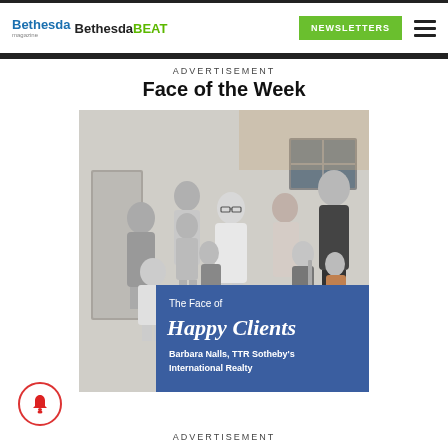Bethesda Bethesda BEAT | NEWSLETTERS
ADVERTISEMENT
Face of the Week
[Figure (photo): Black and white photo of a group of people including two families with children standing in front of a house, with a blue overlay box reading 'The Face of Happy Clients — Barbara Nalls, TTR Sotheby's International Realty']
ADVERTISEMENT